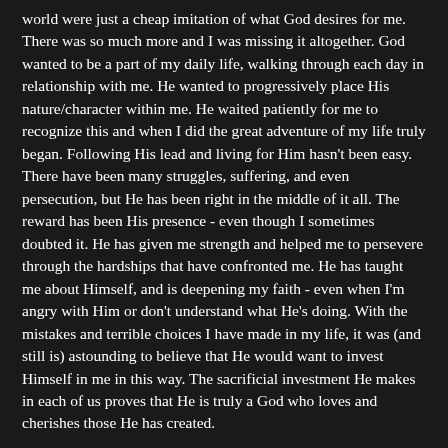world were just a cheap imitation of what God desires for me. There was so much more and I was missing it altogether. God wanted to be a part of my daily life, walking through each day in relationship with me. He wanted to progressively place His nature/character within me. He waited patiently for me to recognize this and when I did the great adventure of my life truly began. Following His lead and living for Him hasn't been easy. There have been many struggles, suffering, and even persecution, but He has been right in the middle of it all. The reward has been His presence - even though I sometimes doubted it. He has given me strength and helped me to persevere through the hardships that have confronted me. He has taught me about Himself, and is deepening my faith - even when I'm angry with Him or don't understand what He's doing. With the mistakes and terrible choices I have made in my life, it was (and still is) astounding to believe that He would want to invest Himself in me in this way. The sacrificial investment He makes in each of us proves that He is truly a God who loves and cherishes those He has created.
What about you? Have you considered the fact when you